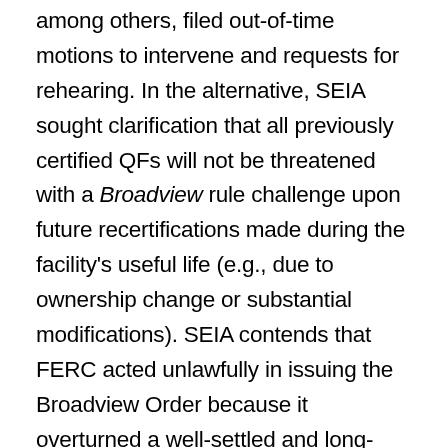among others, filed out-of-time motions to intervene and requests for rehearing. In the alternative, SEIA sought clarification that all previously certified QFs will not be threatened with a Broadview rule challenge upon future recertifications made during the facility's useful life (e.g., due to ownership change or substantial modifications). SEIA contends that FERC acted unlawfully in issuing the Broadview Order because it overturned a well-settled and long-established precedent in an individual proceeding without notice and comment rulemaking mandated under the Administrative Procedures Act. SEIA also